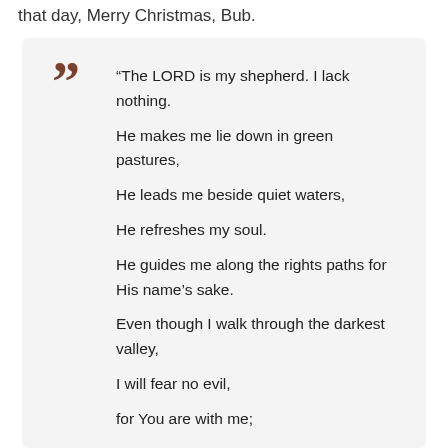that day, Merry Christmas, Bub.
“The LORD is my shepherd. I lack nothing.

He makes me lie down in green pastures,

He leads me beside quiet waters,

He refreshes my soul.

He guides me along the rights paths for His name’s sake.

Even though I walk through the darkest valley,

I will fear no evil,

for You are with me;

Your rod and Your staff,